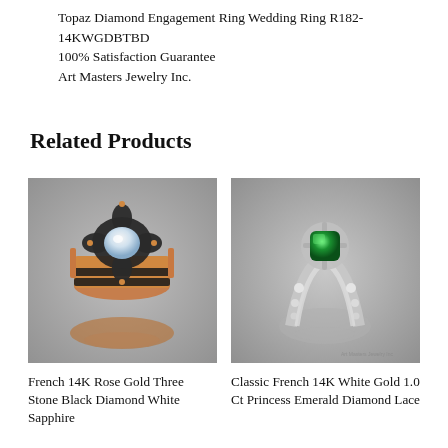Topaz Diamond Engagement Ring Wedding Ring R182-14KWGDBTBD
100% Satisfaction Guarantee
Art Masters Jewelry Inc.
Related Products
[Figure (photo): Photo of a French 14K Rose Gold Three Stone Black Diamond White Sapphire engagement ring on gray background]
[Figure (photo): Photo of a Classic French 14K White Gold 1.0 Ct Princess Emerald Diamond Lace engagement ring on gray background]
French 14K Rose Gold Three Stone Black Diamond White Sapphire
Classic French 14K White Gold 1.0 Ct Princess Emerald Diamond Lace